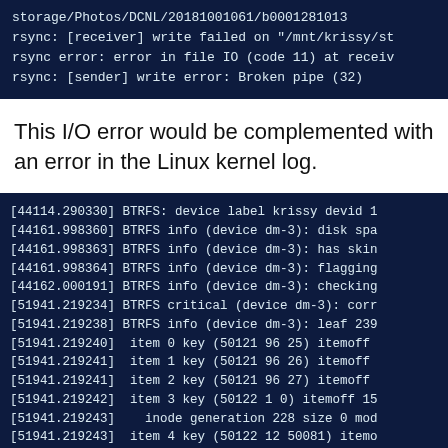[Figure (screenshot): Terminal/code block showing rsync error messages on dark navy background]
This I/O error would be complemented with an error in the Linux kernel log.
[Figure (screenshot): Terminal/code block showing BTRFS kernel log messages on dark navy background]